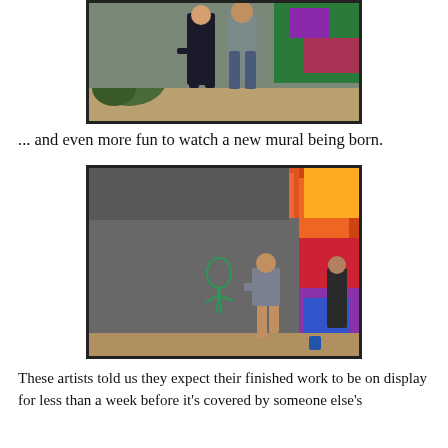[Figure (photo): Two people standing in front of a graffiti mural outdoors, with painted wall and vegetation visible in background.]
... and even more fun to watch a new mural being born.
[Figure (photo): A person standing in front of a large grey wall at an outdoor graffiti area, with colorful murals visible on the right side. A sketch outline of a figure is visible on the grey wall.]
These artists told us they expect their finished work to be on display for less than a week before it's covered by someone else's